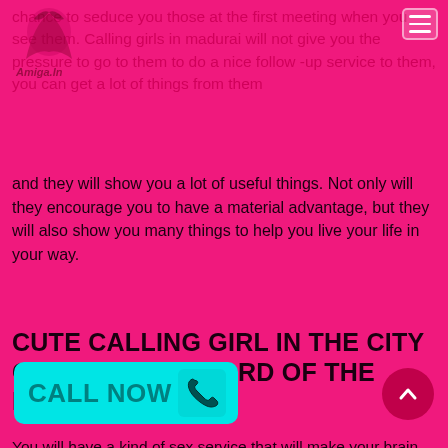chance to seduce you those at the first meeting when you see them. Calling girls in madurai will not give you the pressure to go to them to do a nice follow -up service to them, you can get a lot of things from them
and they will show you a lot of useful things. Not only will they encourage you to have a material advantage, but they will also show you many things to help you live your life in your way.
CUTE CALLING GIRL IN THE CITY OF MADURAI – LORD OF THE NIGHT
You will have a kind of sex service that will make your brain, like your body, relax and rejuvenate, call girls in madurai agree to provide amazing escort services that they are completely dedicated to their work, and with that is, they are always ready for their work. Job so that you can call them when you have a need the service, but to visit the madurai calling after that, you can turn your a service top followers in
[Figure (other): CALL NOW button with phone icon in teal/cyan color]
[Figure (other): Scroll to top arrow button in dark pink/red circle]